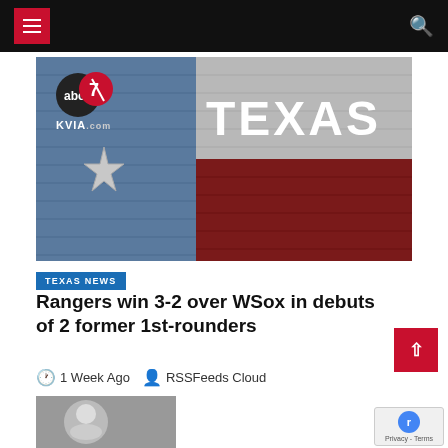Navigation bar with hamburger menu and search icon
[Figure (photo): KVIA ABC7 news station branding image showing the ABC7 KVIA.com logo on the left against a blue brick wall background with a white star, and the word TEXAS in large white letters on the right against a gray and red brick wall (Texas flag colors)]
TEXAS NEWS
Rangers win 3-2 over WSox in debuts of 2 former 1st-rounders
1 Week Ago  RSSFeeds Cloud
[Figure (photo): Bottom thumbnail image partially visible]